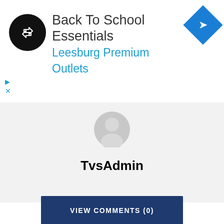[Figure (screenshot): Advertisement banner for Back To School Essentials at Leesburg Premium Outlets, with circular logo, text, and blue diamond navigation icon]
[Figure (illustration): User profile card with gray avatar placeholder and bold username TvsAdmin on light gray background]
TvsAdmin
VIEW COMMENTS (0)
PREVIOUS ARTICLE
5 Ways to Watch TV Land on Roku